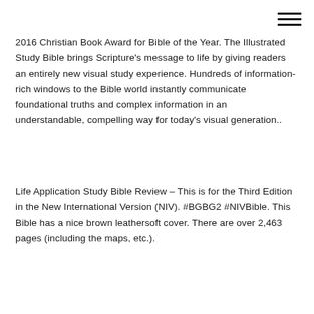[Figure (other): Hamburger menu icon (three horizontal lines) in top-right corner]
2016 Christian Book Award for Bible of the Year. The Illustrated Study Bible brings Scripture's message to life by giving readers an entirely new visual study experience. Hundreds of information-rich windows to the Bible world instantly communicate foundational truths and complex information in an understandable, compelling way for today's visual generation..
Life Application Study Bible Review – This is for the Third Edition in the New International Version (NIV). #BGBG2 #NIVBible. This Bible has a nice brown leathersoft cover. There are over 2,463 pages (including the maps, etc.).